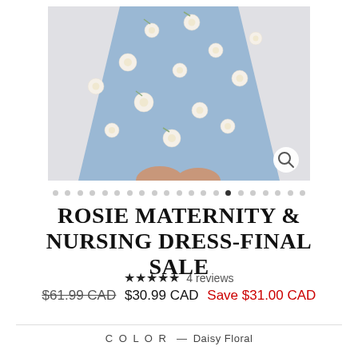[Figure (photo): Product photo showing a light blue floral maternity dress (daisy floral pattern) on a model, cropped at waist level showing skirt flare. Light gray background. Magnifying glass icon in bottom-right corner.]
ROSIE MATERNITY & NURSING DRESS-FINAL SALE
★★★★★ 4 reviews
$61.99 CAD  $30.99 CAD  Save $31.00 CAD
COLOR — Daisy Floral